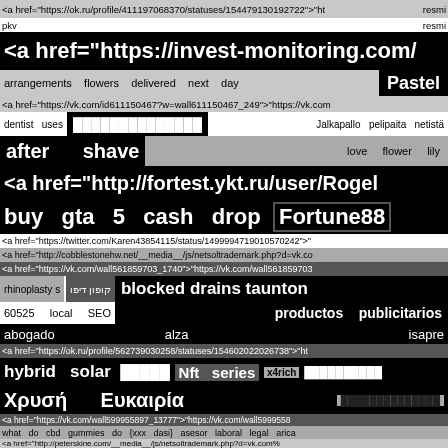<a href="https://ok.ru/profile/411197068370/statuses/154479130192722">"ht pkv resmi
<a href="https://invest-monitoring.com/
arrangements flowers delivered next day  Pastel
<a href="https://vk.com/id611150467?w=wall611150467_249">"https://vk.com
dentist uses  ██████████████  Jalkapallo pelipaita netistä
after shave  love flower lily
<a href="http://fortest.ykt.ru/user/Rogel
buy gta 5 cash drop  Fortune88
<a href="https://twitter.com/Karen43854115/status/1499994719010570242">"
<a href="http://cobblestonehw.net/__media__/js/netsoltrademark.php?d=vk.co
<a href="https://vk.com/wall561859703_1740">"https://vk.com/wall561859703
rhinoplasty s  קופון דיפו  blocked drains taunton
60525  local  SEO  productos publicitarios
abogado  alza  isapre
<a href="https://ok.ru/profile/562739030258/statuses/154602022026738">"ht
hybrid solar  █████  Nft series  x4rich  ██████████
Χρυσή  Ευκαιρία  ██████████████
<a href="https://vk.com/wall599955897_13777">"https://vk.com/wall5999558
what do cbd gummies do  {xxx dasi}  asesor laboral legal arica
<a href="http://peterskine.com/__media__/js/netsoltrademark.php?d=vk.com%
<a href="https://ok.ru/profile/565717758117/statuses/154027563